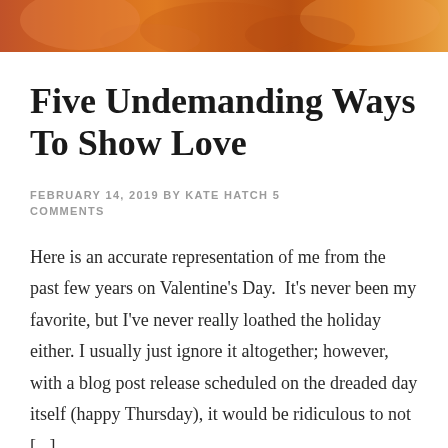[Figure (photo): Partial photo strip at the top of the page showing warm orange/autumn tones, cropped figures]
Five Undemanding Ways To Show Love
FEBRUARY 14, 2019 BY KATE HATCH 5 COMMENTS
Here is an accurate representation of me from the past few years on Valentine’s Day.  It’s never been my favorite, but I’ve never really loathed the holiday either. I usually just ignore it altogether; however, with a blog post release scheduled on the dreaded day itself (happy Thursday), it would be ridiculous to not [...]